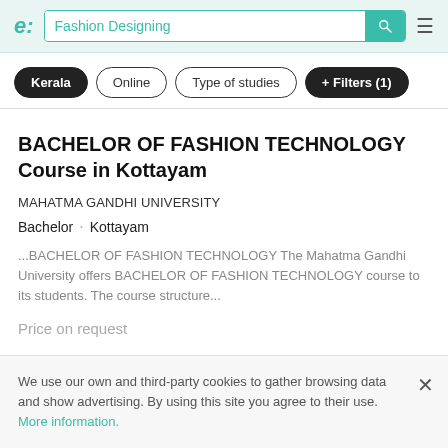e: Fashion Designing [search bar] [hamburger menu]
Kerala   Online   Type of studies   + Filters (1)
BACHELOR OF FASHION TECHNOLOGY Course in Kottayam
MAHATMA GANDHI UNIVERSITY
Bachelor  ·  Kottayam
...BACHELOR OF FASHION TECHNOLOGY The Mahatma Gandhi University offers BACHELOR OF FASHION TECHNOLOGY course to its students. The course structure...
Price on request
We use our own and third-party cookies to gather browsing data and show advertising. By using this site you agree to their use. More information.